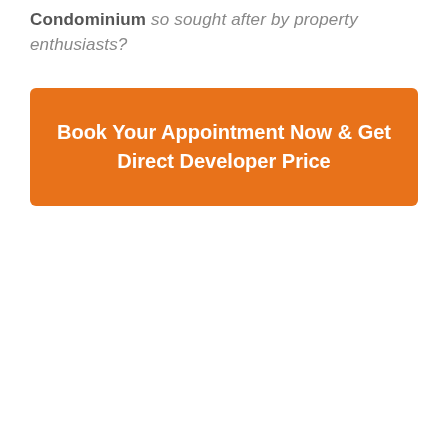Condominium so sought after by property enthusiasts?
Book Your Appointment Now & Get Direct Developer Price